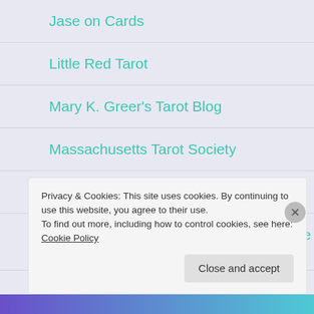Jase on Cards
Little Red Tarot
Mary K. Greer's Tarot Blog
Massachusetts Tarot Society
My Tippy Teahouse
Otylia's Tarot Blog (Polish with Translate Buttons)
Privacy & Cookies: This site uses cookies. By continuing to use this website, you agree to their use.
To find out more, including how to control cookies, see here: Cookie Policy
Close and accept